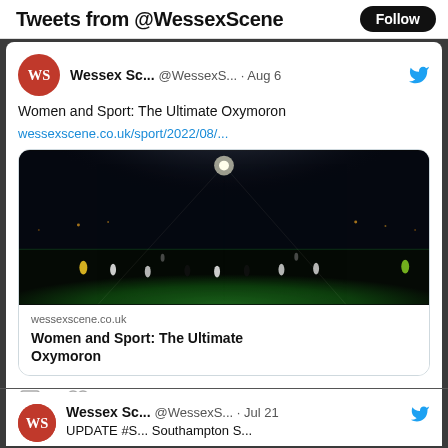Tweets from @WessexScene
Wessex Sc... @WessexS... · Aug 6
Women and Sport: The Ultimate Oxymoron
wessexscene.co.uk/sport/2022/08/...
[Figure (photo): Night football match under floodlights on a dark pitch, players visible on green grass]
wessexscene.co.uk
Women and Sport: The Ultimate Oxymoron
Wessex Sc... @WessexS... · Jul 21
UPDATE #S...